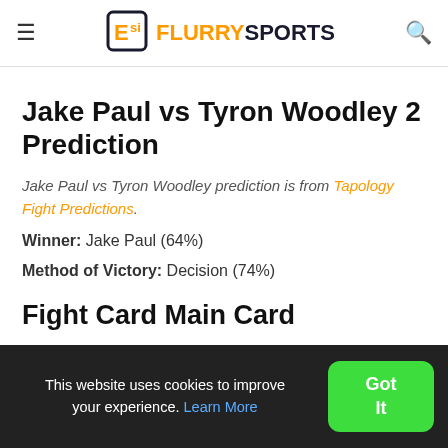Flurry Sports
Jake Paul vs Tyron Woodley 2 Prediction
Jake Paul vs Tyron Woodley prediction is from Tapology Fight Predictions.
Winner: Jake Paul (64%)
Method of Victory: Decision (74%)
Fight Card Main Card
This website uses cookies to improve your experience. Learn More